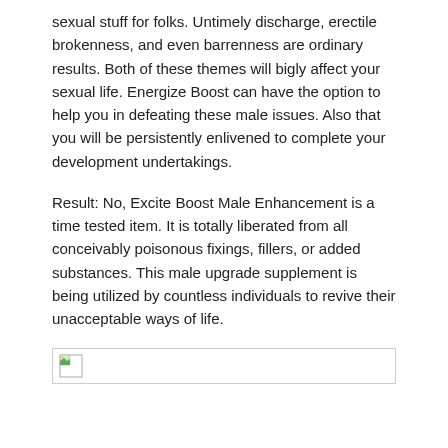sexual stuff for folks. Untimely discharge, erectile brokenness, and even barrenness are ordinary results. Both of these themes will bigly affect your sexual life. Energize Boost can have the option to help you in defeating these male issues. Also that you will be persistently enlivened to complete your development undertakings.
Result: No, Excite Boost Male Enhancement is a time tested item. It is totally liberated from all conceivably poisonous fixings, fillers, or added substances. This male upgrade supplement is being utilized by countless individuals to revive their unacceptable ways of life.
[Figure (other): Broken/missing image placeholder icon with a small landscape thumbnail icon]